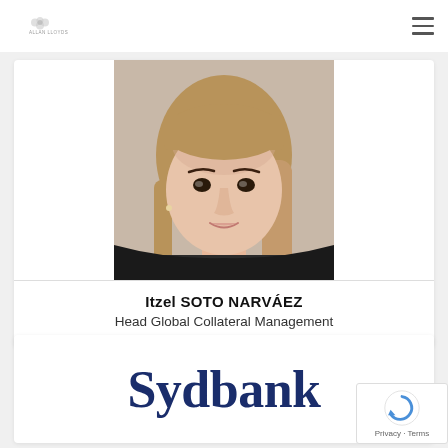Allan Lloyd's (logo) navigation header
[Figure (photo): Headshot photo of Itzel Soto Narváez, a woman with long straight brown hair, wearing a dark jacket, smiling slightly against a neutral background.]
Itzel SOTO NARVÁEZ
Head Global Collateral Management
[Figure (logo): Sydbank logo in dark navy blue serif font on white background.]